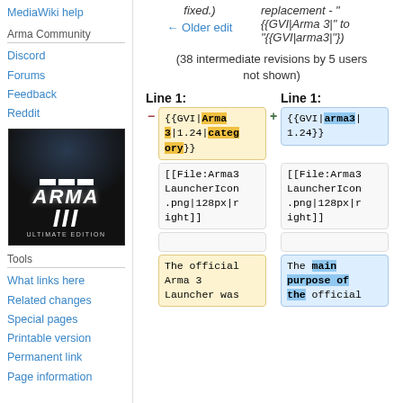MediaWiki help
Arma Community
Discord
Forums
Feedback
Reddit
[Figure (photo): Arma 3 Ultimate Edition game logo on dark background]
Tools
What links here
Related changes
Special pages
Printable version
Permanent link
Page information
fixed.)
← Older edit
replacement - "{{GVI|Arma 3|" to "{{GVI|arma3|"})
(38 intermediate revisions by 5 users not shown)
Line 1:
Line 1:
| {{GVI|Arma 3|1.24|category}} | {{GVI|arma3|1.24}} |
| [[File:Arma3LauncherIcon.png|128px|right]] | [[File:Arma3LauncherIcon.png|128px|right]] |
|  |  |
| The official Arma 3 Launcher was | The main purpose of the official |